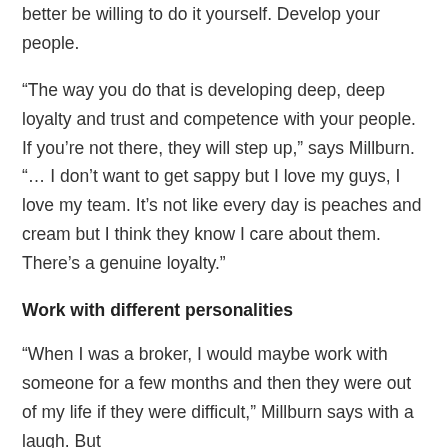better be willing to do it yourself. Develop your people.
“The way you do that is developing deep, deep loyalty and trust and competence with your people. If you’re not there, they will step up,” says Millburn. “… I don’t want to get sappy but I love my guys, I love my team. It’s not like every day is peaches and cream but I think they know I care about them. There’s a genuine loyalty.”
Work with different personalities
“When I was a broker, I would maybe work with someone for a few months and then they were out of my life if they were difficult,” Millburn says with a laugh. But